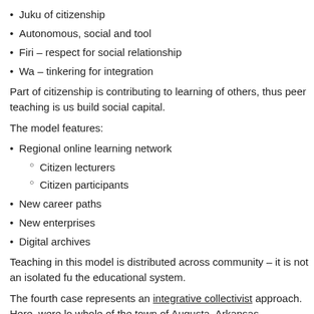Juku of citizenship
Autonomous, social and tool
Firi – respect for social relationship
Wa – tinkering for integration
Part of citizenship is contributing to learning of others, thus peer teaching is us build social capital.
The model features:
Regional online learning network
Citizen lecturers
Citizen participants
New career paths
New enterprises
Digital archives
Teaching in this model is distributed across community – it is not an isolated fu the educational system.
The fourth case represents an integrative collectivist approach.  Here, were lo whole of the town of Augusta, Arkansas.
Case #4: Augusta, Arkansas (Darron is working on this)